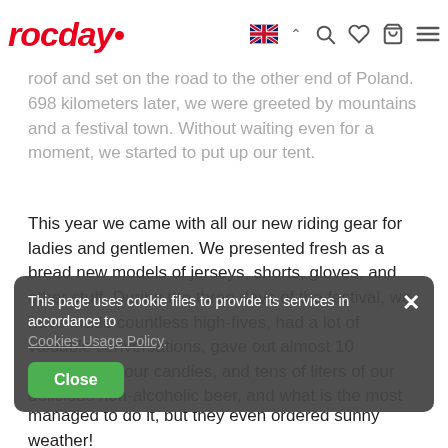rocday. [navigation icons: UK flag, search, heart, bag, menu]
After the pandemic break, we were very determined to visit Kluszkowce again. We packed the bus to the roof and set on the road to the other end of Poland. 698 kilometers later, we were greeted by mountains and a festival town. Without waiting even for a moment, we started to put up our tent.
This year we came with all our new riding gear for ladies and gentlemen. We presented fresh as a bread new models of jerseys, shorts, gloves, and other stuff. During the three days of the festival, we have made countless high-fives, had a lot of valuable conversations, gave out almost 10 kilograms of our candies, and tens of liters of our delicious non-alcoholic beer, and what is the most important - we had a great time doing it! Joyride is a great place to talk with people. We have to immodestly admit that the response exceeded our expectations.
This page uses cookie files to provide its services in accordance to Cookies Usage Policy.
Close
managed to do it, but they even ordered sunny weather!